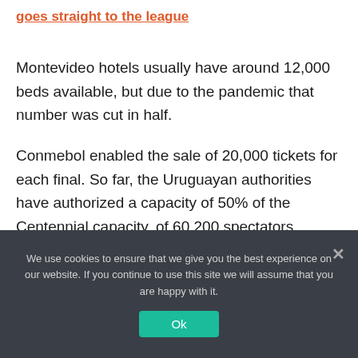goes straight to the league
Montevideo hotels usually have around 12,000 beds available, but due to the pandemic that number was cut in half.
Conmebol enabled the sale of 20,000 tickets for each final. So far, the Uruguayan authorities have authorized a capacity of 50% of the Centennial capacity, of 60,200 spectators. (AFP)
We use cookies to ensure that we give you the best experience on our website. If you continue to use this site we will assume that you are happy with it.